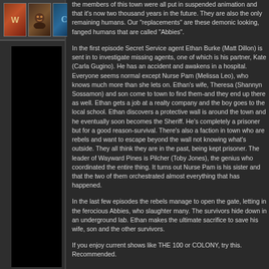[Figure (screenshot): Left panel with thumbnail images and a black content area below]
the members of this town were all put in suspended animation and that it's now two thousand years in the future. They are also the only remaining humans. Our "replacements" are these demonic looking, fanged humans that are called "Abbies".
In the first episode Secret Service agent Ethan Burke (Matt Dillon) is sent in to investigate missing agents, one of which is his partner, Kate (Carla Gugino). He has an accident and awakens in a hospital. Everyone seems normal except Nurse Pam (Melissa Leo), who knows much more than she lets on. Ethan's wife, Theresa (Shannyn Sossamon) and son come to town to find them-and they end up there as well. Ethan gets a job at a realty company and the boy goes to the local school. Ethan discovers a protective wall is around the town and he eventually soon becomes the Sheriff. He's completely a prisoner but for a good reason-survival. There's also a faction in town who are rebels and want to escape beyond the wall not knowing what's outside. They all think they are in the past, being kept prisoner. The leader of Wayward Pines is Pilcher (Toby Jones), the genius who coordinated the entire thing. It turns out Nurse Pam is his sister and that the two of them orchestrated almost everything that has happened.
In the last few episodes the rebels manage to open the gate, letting in the ferocious Abbies, who slaughter many. The survivors hide down in an underground lab. Ethan makes the ultimate sacrifice to save his wife, son and the other survivors.
If you enjoy current shows like THE 100 or COLONY, try this. Recommended.